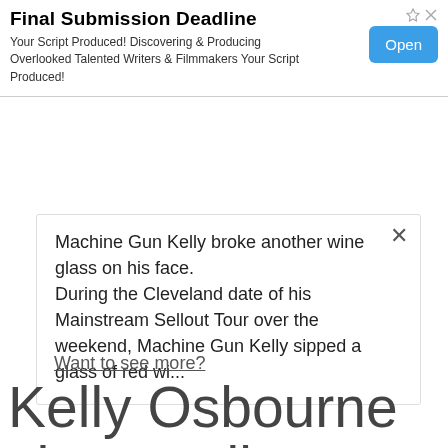[Figure (screenshot): Advertisement banner with title 'Final Submission Deadline', body text about script production, and an 'Open' button]
Machine Gun Kelly broke another wine glass on his face.
During the Cleveland date of his Mainstream Sellout Tour over the weekend, Machine Gun Kelly sipped a glass of red wi...
Want to see more?
Kelly Osbourne shares glimpse of pregnant stomach